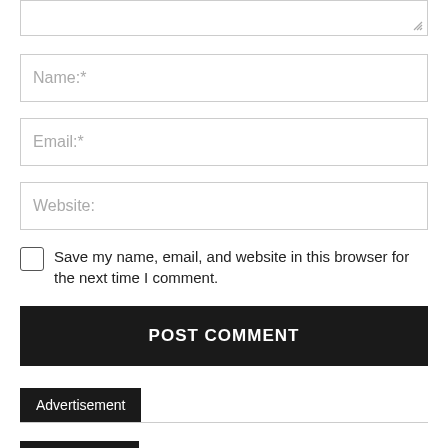[Figure (screenshot): Text area input box with resize handle at bottom right]
Name:*
Email:*
Website:
Save my name, email, and website in this browser for the next time I comment.
POST COMMENT
Advertisement
Latest Articles